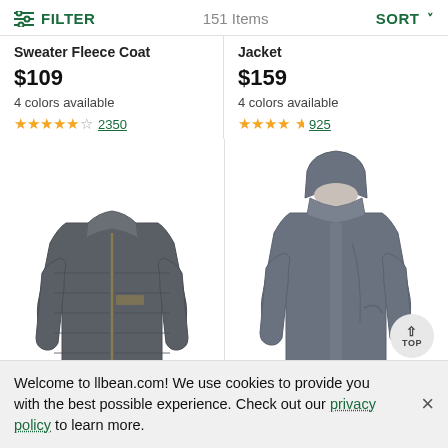FILTER  151 Items  SORT
Sweater Fleece Coat
$109
4 colors available
★★★★½ 2350
Jacket
$159
4 colors available
★★★★½ 925
[Figure (photo): Dark grey quilted insulated jacket with stand collar and full zipper]
[Figure (photo): Dark grey hooded windbreaker jacket]
Welcome to llbean.com! We use cookies to provide you with the best possible experience. Check out our privacy policy to learn more.